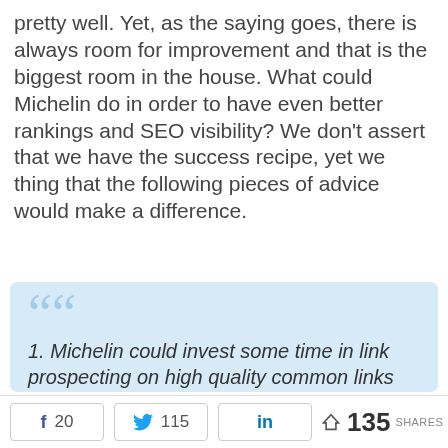pretty well. Yet, as the saying goes, there is always room for improvement and that is the biggest room in the house. What could Michelin do in order to have even better rankings and SEO visibility? We don't assert that we have the success recipe, yet we thing that the following pieces of advice would make a difference.
1. Michelin could invest some time in link prospecting on high quality common links and domains from competitors.
f 20   🐦 115   in   < 135 SHARES